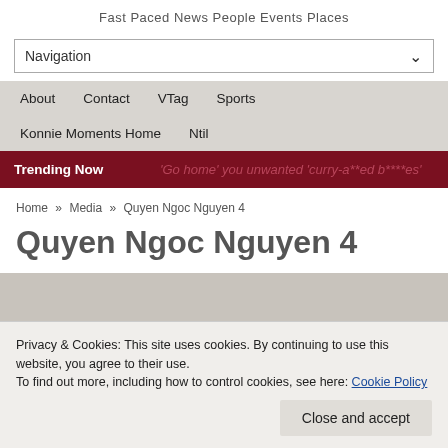Fast Paced News People Events Places
Navigation
About
Contact
VTag
Sports
Konnie Moments Home
Ntil
Trending Now  'Go home' you unwanted 'curry-a**ed b****es'
Home » Media » Quyen Ngoc Nguyen 4
Quyen Ngoc Nguyen 4
Privacy & Cookies: This site uses cookies. By continuing to use this website, you agree to their use.
To find out more, including how to control cookies, see here: Cookie Policy
Close and accept